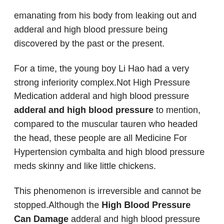emanating from his body from leaking out and adderal and high blood pressure being discovered by the past or the present.
For a time, the young boy Li Hao had a very strong inferiority complex.Not High Pressure Medication adderal and high blood pressure adderal and high blood pressure to mention, compared to the muscular tauren who headed the head, these people are all Medicine For Hypertension cymbalta and high blood pressure meds skinny and like little chickens.
This phenomenon is irreversible and cannot be stopped.Although the High Blood Pressure Can Damage adderal and high blood pressure so called Divine Seal of the Dao has adderal and high blood pressure been created in ancient times or today, it is just a little slow down of